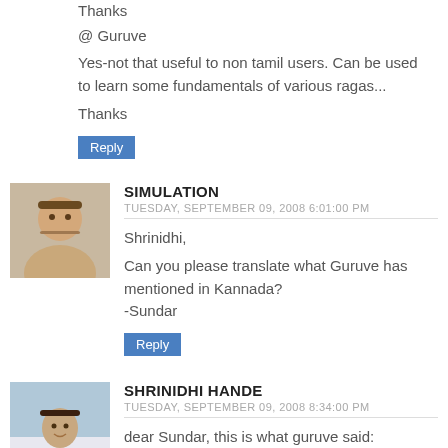Thanks
@ Guruve
Yes-not that useful to non tamil users. Can be used to learn some fundamentals of various ragas...
Thanks
Reply
SIMULATION
TUESDAY, SEPTEMBER 09, 2008 6:01:00 PM
Shrinidhi,

Can you please translate what Guruve has mentioned in Kannada?
-Sundar
Reply
SHRINIDHI HANDE
TUESDAY, SEPTEMBER 09, 2008 8:34:00 PM
dear Sundar, this is what guruve said: